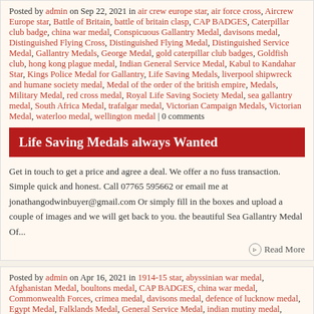Posted by admin on Sep 22, 2021 in air crew europe star, air force cross, Aircrew Europe star, Battle of Britain, battle of britain clasp, CAP BADGES, Caterpillar club badge, china war medal, Conspicuous Gallantry Medal, davisons medal, Distinguished Flying Cross, Distinguished Flying Medal, Distinguished Service Medal, Gallantry Medals, George Medal, gold caterpillar club badges, Goldfish club, hong kong plague medal, Indian General Service Medal, Kabul to Kandahar Star, Kings Police Medal for Gallantry, Life Saving Medals, liverpool shipwreck and humane society medal, Medal of the order of the british empire, Medals, Military Medal, red cross medal, Royal Life Saving Society Medal, sea gallantry medal, South Africa Medal, trafalgar medal, Victorian Campaign Medals, Victorian Medal, waterloo medal, wellington medal | 0 comments
Life Saving Medals always Wanted
Get in touch to get a price and agree a deal. We offer a no fuss transaction. Simple quick and honest. Call 07765 595662 or email me at jonathangodwinbuyer@gmail.com Or simply fill in the boxes and upload a couple of images and we will get back to you. the beautiful Sea Gallantry Medal Of...
Read More
Posted by admin on Apr 16, 2021 in 1914-15 star, abyssinian war medal, Afghanistan Medal, boultons medal, CAP BADGES, china war medal, Commonwealth Forces, crimea medal, davisons medal, defence of lucknow medal, Egypt Medal, Falklands Medal, General Service Medal, indian mutiny medal, Kabul to Kandahar Star, Long Service and Good Conduct Medal, Medals, military general service medal, Territorial Efficiency Medal, Victorian Campaign Medals | 0 comments
Superb Collection of Medals bought April 2021